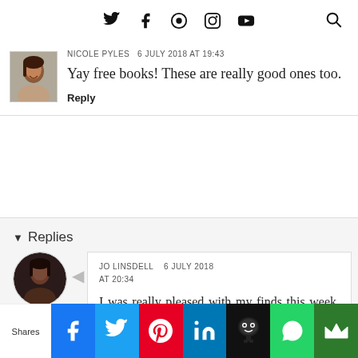Social media icons and search
NICOLE PYLES 6 JULY 2018 AT 19:43
Yay free books! These are really good ones too.
Reply
▾ Replies
JO LINSDELL 6 JULY 2018 AT 20:34
I was really pleased with my finds this week. Looking forward to reading all of these books.